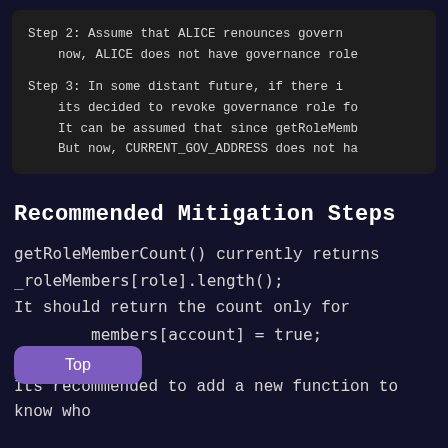Step 2: Assume that ALICE renounces govern now, ALICE does not have governance role

Step 3: In some distant future, if there i its decided to revoke governance role fo It can be assumed that since getRoleMemb But now, CURRENT_GOV_ADDRESS does not ha
Recommended Mitigation Steps
getRoleMemberCount() currently returns _roleMembers[role].length(); It should return the count only for _roleMembers[account] = true; Its recommended to add a new function to know who
[Figure (other): Purple 'Top' button overlay in bottom-left corner]